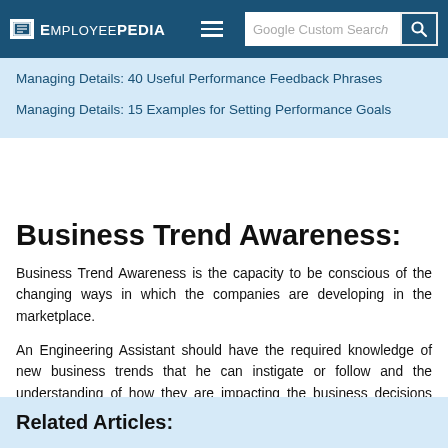EMPLOYEEPEDIA
Managing Details: 40 Useful Performance Feedback Phrases
Managing Details: 15 Examples for Setting Performance Goals
Business Trend Awareness:
Business Trend Awareness is the capacity to be conscious of the changing ways in which the companies are developing in the marketplace.
An Engineering Assistant should have the required knowledge of new business trends that he can instigate or follow and the understanding of how they are impacting the business decisions which will eventually bring success to the employees as well as the enterprise
Related Articles: